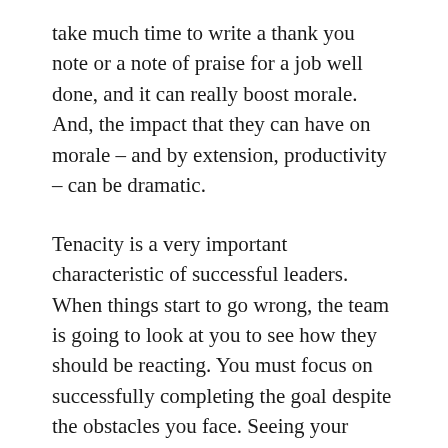take much time to write a thank you note or a note of praise for a job well done, and it can really boost morale. And, the impact that they can have on morale – and by extension, productivity – can be dramatic.
Tenacity is a very important characteristic of successful leaders. When things start to go wrong, the team is going to look at you to see how they should be reacting. You must focus on successfully completing the goal despite the obstacles you face. Seeing your persistence will spur the group on to get back up and get back to work again.
As you've read in this article, becoming a leader